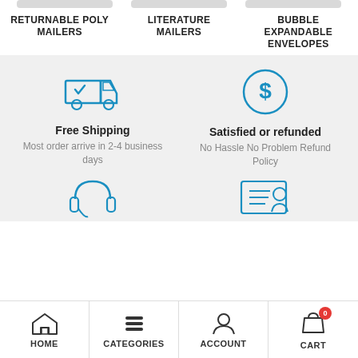RETURNABLE POLY MAILERS
LITERATURE MAILERS
BUBBLE EXPANDABLE ENVELOPES
[Figure (illustration): Blue delivery truck icon with checkmark]
Free Shipping
Most order arrive in 2-4 business days
[Figure (illustration): Blue dollar sign circle icon]
Satisfied or refunded
No Hassle No Problem Refund Policy
[Figure (illustration): Blue headset/support icon (partially visible)]
[Figure (illustration): Blue ID card/account icon (partially visible)]
HOME | CATEGORIES | ACCOUNT | CART